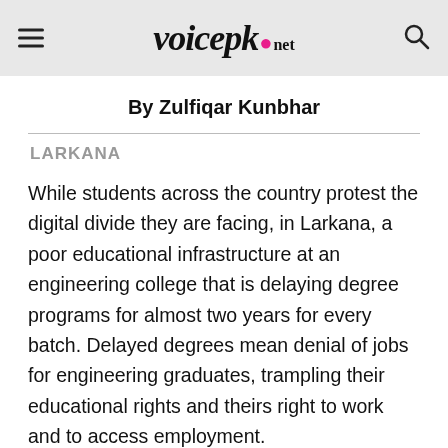voicepk.net
By Zulfiqar Kunbhar
LARKANA
While students across the country protest the digital divide they are facing, in Larkana, a poor educational infrastructure at an engineering college that is delaying degree programs for almost two years for every batch. Delayed degrees mean denial of jobs for engineering graduates, trampling their educational rights and theirs right to work and to access employment.